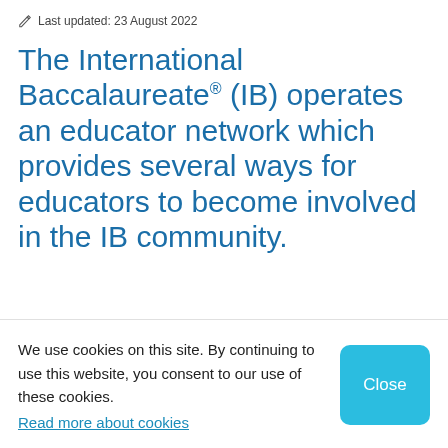Last updated: 23 August 2022
The International Baccalaureate® (IB) operates an educator network which provides several ways for educators to become involved in the IB community.
We use cookies on this site. By continuing to use this website, you consent to our use of these cookies. Read more about cookies